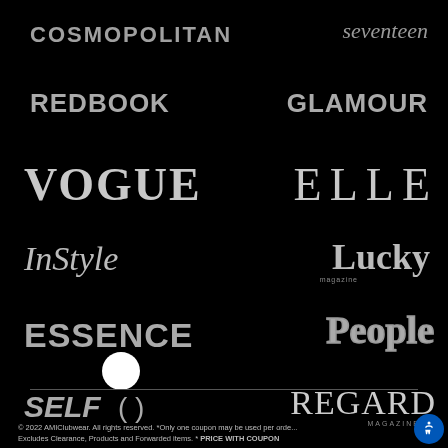[Figure (logo): COSMOPOLITAN magazine logo in bold uppercase grey text on black background]
[Figure (logo): seventeen magazine logo in italic grey script text on black background]
[Figure (logo): REDBOOK magazine logo in bold uppercase grey text on black background]
[Figure (logo): GLAMOUR magazine logo in bold uppercase grey text on black background]
[Figure (logo): VOGUE magazine logo in large serif grey text on black background]
[Figure (logo): ELLE magazine logo in large spaced serif grey text on black background]
[Figure (logo): InStyle magazine logo in italic serif grey text on black background]
[Figure (logo): Lucky magazine logo with 'magazine' subtext in grey on black background]
[Figure (logo): ESSENCE magazine logo in bold uppercase grey text on black background]
[Figure (logo): People magazine logo in outlined grey serif text on black background]
[Figure (logo): SELF magazine logo in bold italic grey text with parentheses on black background]
[Figure (logo): REGARD MAGAZINE logo in thin serif grey text on black background]
© 2022 AMIClubwear. All rights reserved. *Only one coupon may be used per order. Excludes Clearance, Products and Forwarded items. * PRICE WITH COUPON